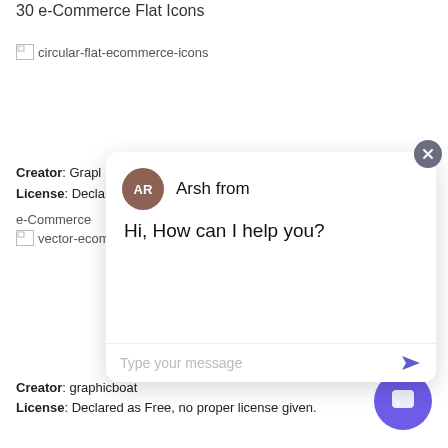30 e-Commerce Flat Icons
[Figure (other): Broken image placeholder with alt text 'circular-flat-ecommerce-icons']
Creator: Grapl
License: Declar
e-Commerce
[Figure (other): Broken image placeholder with alt text 'vector-ecommerce-icons']
[Figure (screenshot): Chat widget popup with avatar 'AR', agent name 'Arsh from', message 'Hi, How can I help you?', and a text input area with placeholder 'Type your message' and send button. A close button (x) in dark circle is in top right. A purple circular chat FAB button is in bottom right.]
Creator: graphicboat
License: Declared as Free, no proper license given.